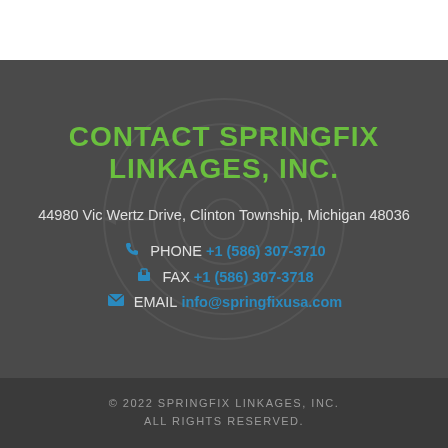CONTACT SPRINGFIX LINKAGES, INC.
44980 Vic Wertz Drive, Clinton Township, Michigan 48036
PHONE +1 (586) 307-3710
FAX +1 (586) 307-3718
EMAIL info@springfixusa.com
© 2022 SPRINGFIX LINKAGES, INC. ALL RIGHTS RESERVED.